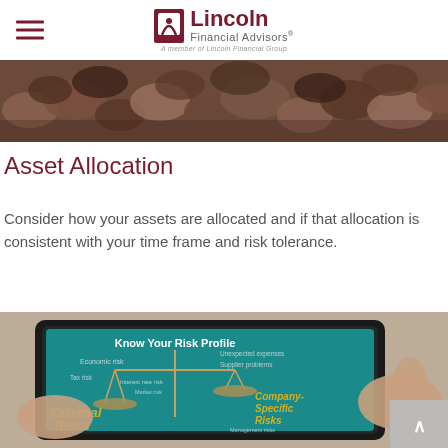Lincoln Financial Advisors® A member of Lincoln Financial Group
[Figure (photo): Close-up photo of smooth river stones/pebbles in warm brown tones, used as a decorative banner image at the top of the page.]
Asset Allocation
Consider how your assets are allocated and if that allocation is consistent with your time frame and risk tolerance.
[Figure (photo): Photograph of hands holding a tablet displaying a teal-colored infographic titled 'Know Your Risk Profile' showing a balance scale with 'External Risks' and 'Company-Specific Risks' labels, with risk categories such as Economic risk, Tax risk, Interest rate risk, Market risk, Unexpected expenses, Supplier problems, and Management risks.]